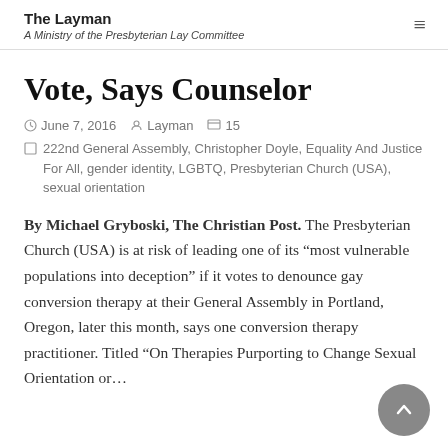The Layman
A Ministry of the Presbyterian Lay Committee
Vote, Says Counselor
June 7, 2016  Layman  15
222nd General Assembly, Christopher Doyle, Equality And Justice For All, gender identity, LGBTQ, Presbyterian Church (USA), sexual orientation
By Michael Gryboski, The Christian Post.  The Presbyterian Church (USA) is at risk of leading one of its “most vulnerable populations into deception” if it votes to denounce gay conversion therapy at their General Assembly in Portland, Oregon, later this month, says one conversion therapy practitioner.  Titled “On Therapies Purporting to Change Sexual Orientation or…